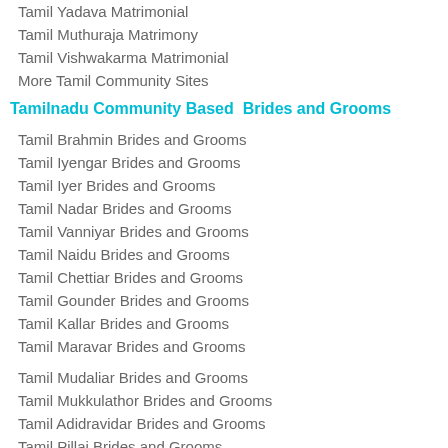Tamil Yadava Matrimonial
Tamil Muthuraja Matrimony
Tamil Vishwakarma Matrimonial
More Tamil Community Sites
Tamilnadu Community Based  Brides and Grooms
Tamil Brahmin Brides and Grooms
Tamil Iyengar Brides and Grooms
Tamil Iyer Brides and Grooms
Tamil Nadar Brides and Grooms
Tamil Vanniyar Brides and Grooms
Tamil Naidu Brides and Grooms
Tamil Chettiar Brides and Grooms
Tamil Gounder Brides and Grooms
Tamil Kallar Brides and Grooms
Tamil Maravar Brides and Grooms
Tamil Mudaliar Brides and Grooms
Tamil Mukkulathor Brides and Grooms
Tamil Adidravidar Brides and Grooms
Tamil Pillai Brides and Grooms